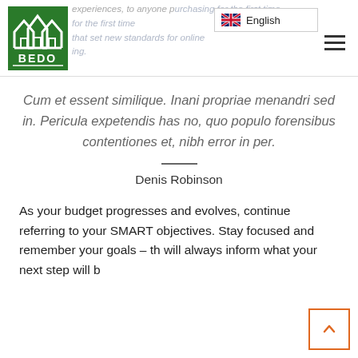BEDO logo and navigation bar with English language selector and hamburger menu
Cum et essent similique. Inani propriae menandri sed in. Pericula expetendis has no, quo populo forensibus contentiones et, nibh error in per.
Denis Robinson
As your budget progresses and evolves, continue referring to your SMART objectives. Stay focused and remember your goals – th will always inform what your next step will b